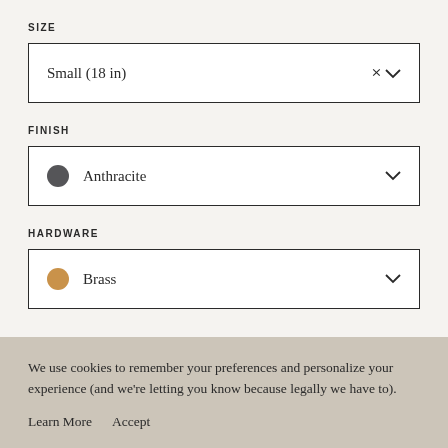SIZE
Small (18 in)
FINISH
Anthracite
HARDWARE
Brass
We use cookies to remember your preferences and personalize your experience (and we're letting you know because legally we have to).
Learn More   Accept